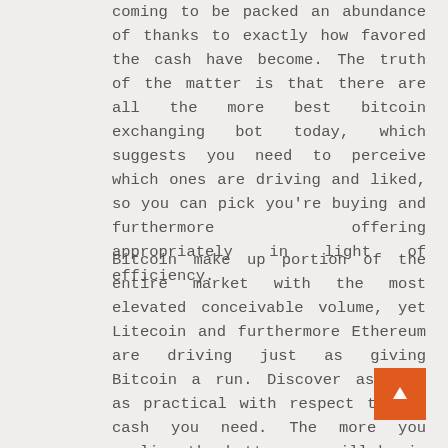coming to be packed an abundance of thanks to exactly how favored the cash have become. The truth of the matter is that there are all the more best bitcoin exchanging bot today, which suggests you need to perceive which ones are driving and liked, so you can pick you're buying and furthermore offering appropriately in light of efficiency.
Bitcoin make up portion of the entire market with the most elevated conceivable volume, yet Litecoin and furthermore Ethereum are driving just as giving Bitcoin a run. Discover as long as practical with respect to the cash you need. The more you realize the better you will be in deciding. You can truly deal with to exchange more noteworthy than one bitcoin with no obstruction. Bitcoin just as other cash are somewhat unsteady in any event, when thought about the protections market and gold. Recall that this is as yet a cutting edge innovation in its initial days and furthermore it experiences extraordinary arrangements of difficulties and see Bitcoin news. The profit chances are very high yet so are the dangers to. Public assumption concerning cash